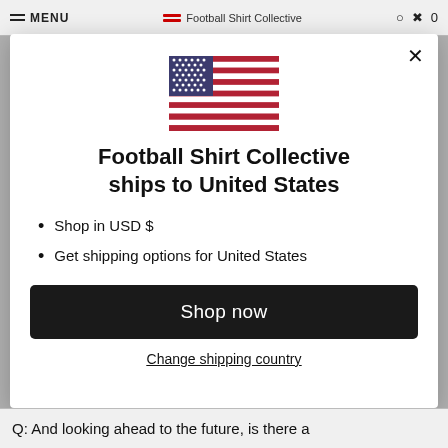MENU | Football Shirt Collective
[Figure (illustration): US flag icon centered in modal]
Football Shirt Collective ships to United States
Shop in USD $
Get shipping options for United States
Shop now
Change shipping country
Q: And looking ahead to the future, is there a